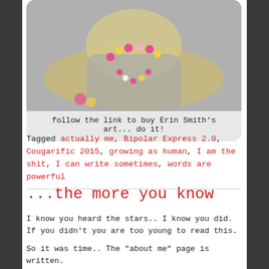[Figure (photo): Black and white photo of a woman with a large hat decorated with pink and yellow flowers, wearing a floral necklace, in a gray knit outfit]
follow the link to buy Erin Smith's art... do it!
Tagged actually me, Bipolar Express 2.0, Cougarific 2015, growing as human, I am the shit, I can write sometimes, words are powerful
...the more you know
I know you heard the stars.. I know you did. If you didn't you are too young to read this.
So it was time.. The "about me" page is written.